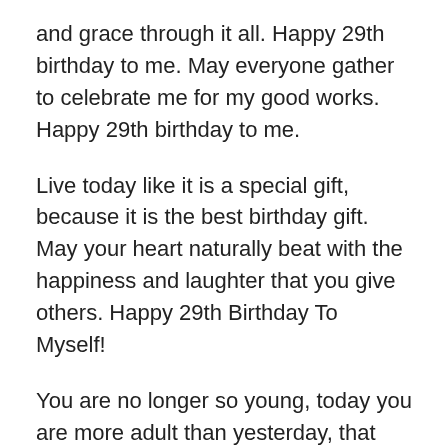and grace through it all. Happy 29th birthday to me. May everyone gather to celebrate me for my good works. Happy 29th birthday to me.
Live today like it is a special gift, because it is the best birthday gift. May your heart naturally beat with the happiness and laughter that you give others. Happy 29th Birthday To Myself!
You are no longer so young, today you are more adult than yesterday, that each experience in your life makes you more mature and happier happy 29 springs. Happy 29 Birthday To Me!
29 years on earth does not come easy but by grace and privilege from the most high. Thankful to kiss 28